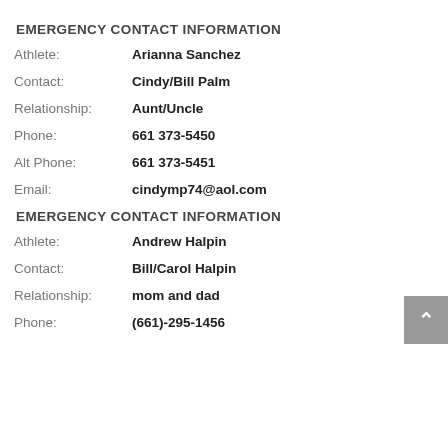EMERGENCY CONTACT INFORMATION
Athlete: Arianna Sanchez
Contact: Cindy/Bill Palm
Relationship: Aunt/Uncle
Phone: 661 373-5450
Alt Phone: 661 373-5451
Email: cindymp74@aol.com
EMERGENCY CONTACT INFORMATION
Athlete: Andrew Halpin
Contact: Bill/Carol Halpin
Relationship: mom and dad
Phone: (661)-295-1456